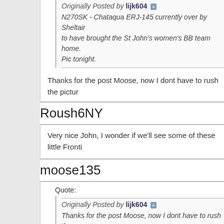Originally Posted by lijk604
N270SK - Chataqua ERJ-145 currently over by Sheltair to have brought the St John's women's BB team home. Pic tonight.
Thanks for the post Moose, now I dont have to rush the pictur
Roush6NY
Very nice John, I wonder if we'll see some of these little Fronti
moose135
Quote:
Originally Posted by lijk604
Thanks for the post Moose, now I dont have to rush the p
You can wait until after the birthday cake...